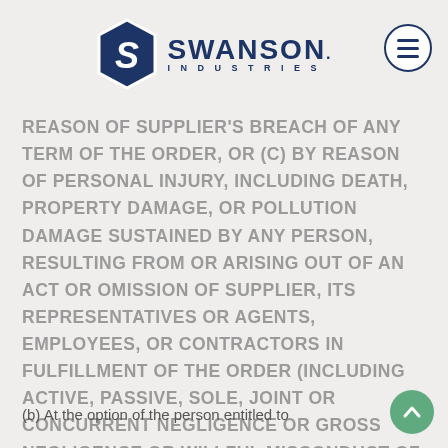Swanson Industries
REASON OF SUPPLIER'S BREACH OF ANY TERM OF THE ORDER, OR (C) BY REASON OF PERSONAL INJURY, INCLUDING DEATH, PROPERTY DAMAGE, OR POLLUTION DAMAGE SUSTAINED BY ANY PERSON, RESULTING FROM OR ARISING OUT OF AN ACT OR OMISSION OF SUPPLIER, ITS REPRESENTATIVES OR AGENTS, EMPLOYEES, OR CONTRACTORS IN FULFILLMENT OF THE ORDER (INCLUDING ACTIVE, PASSIVE, SOLE, JOINT OR CONCURRENT NEGLIGENCE OR GROSS NEGLIGENCE OR WILLFUL MISCONDUCT OF SUPPLIER).
(b) At the option of the person entitled to